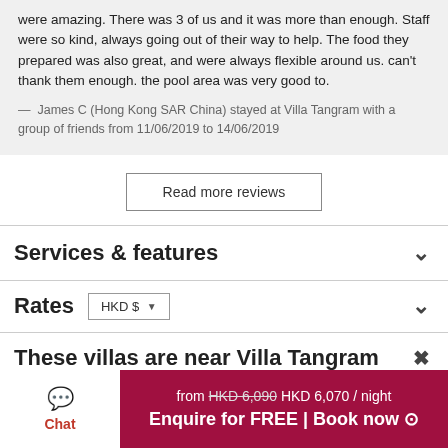were amazing. There was 3 of us and it was more than enough. Staff were so kind, always going out of their way to help. The food they prepared was also great, and were always flexible around us. can't thank them enough. the pool area was very good to.
— James C (Hong Kong SAR China) stayed at Villa Tangram with a group of friends from 11/06/2019 to 14/06/2019
Read more reviews
Services & features
Rates HKD $
These villas are near Villa Tangram
from HKD 6,090 HKD 6,070 / night Enquire for FREE | Book now